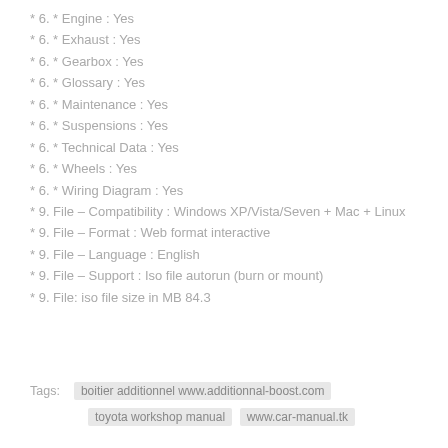* 6. * Engine : Yes
* 6. * Exhaust : Yes
* 6. * Gearbox : Yes
* 6. * Glossary : Yes
* 6. * Maintenance : Yes
* 6. * Suspensions : Yes
* 6. * Technical Data : Yes
* 6. * Wheels : Yes
* 6. * Wiring Diagram : Yes
* 9. File – Compatibility : Windows XP/Vista/Seven + Mac + Linux
* 9. File – Format : Web format interactive
* 9. File – Language : English
* 9. File – Support : Iso file autorun (burn or mount)
* 9. File: iso file size in MB 84.3
Tags: boitier additionnel www.additionnal-boost.com toyota workshop manual www.car-manual.tk